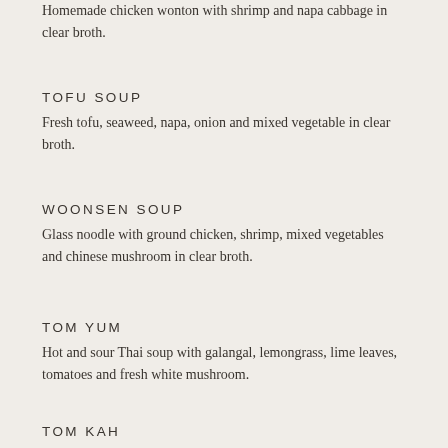Homemade chicken wonton with shrimp and napa cabbage in clear broth.
TOFU SOUP
Fresh tofu, seaweed, napa, onion and mixed vegetable in clear broth.
WOONSEN SOUP
Glass noodle with ground chicken, shrimp, mixed vegetables and chinese mushroom in clear broth.
TOM YUM
Hot and sour Thai soup with galangal, lemongrass, lime leaves, tomatoes and fresh white mushroom.
TOM KAH